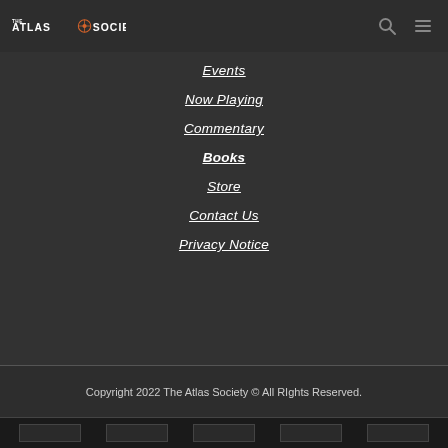THE ATLAS SOCIETY
Events
Now Playing
Commentary
Books
Store
Contact Us
Privacy Notice
Copyright 2022 The Atlas Society © All RIghts Reserved.